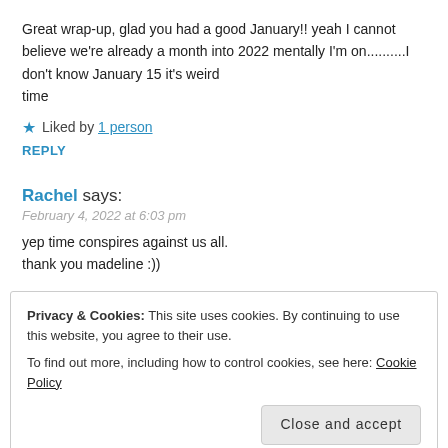Great wrap-up, glad you had a good January!! yeah I cannot believe we're already a month into 2022 mentally I'm on..........I don't know January 15 it's weird
time
★ Liked by 1 person
REPLY
Rachel says:
February 4, 2022 at 6:03 pm
yep time conspires against us all.
thank you madeline :))
Privacy & Cookies: This site uses cookies. By continuing to use this website, you agree to their use.
To find out more, including how to control cookies, see here: Cookie Policy
Close and accept
It's crazy that we've already gone through a whole month!! So